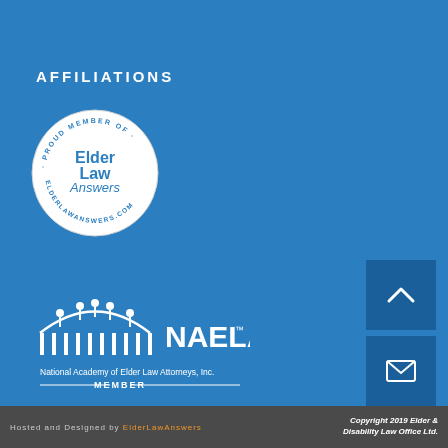AFFILIATIONS
[Figure (logo): Elder Law Answers circular badge logo with text 'PROUD MEMBER OF' and 'ELDERLAWANSWERS.COM' around the border, and 'Elder Law Answers' in the center]
[Figure (logo): NAELA logo — National Academy of Elder Law Attorneys, Inc. MEMBER badge with building/pillar graphic]
Hosted and Designed by ElderLawAnswers   Copyright 2019 Elder & Disability Law Office Ltd.